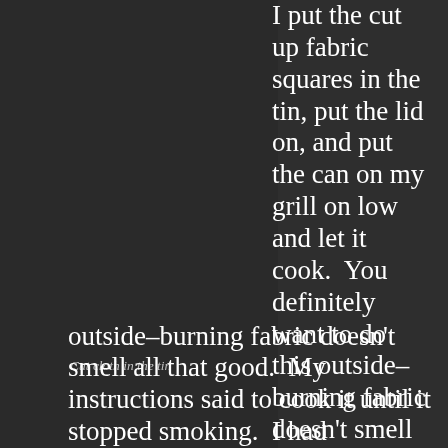[Figure (photo): Dark background image showing cut cloth pieces in a tin container]
Cut cloth in the tin
I put the cut up fabric squares in the tin, put the lid on, and put the can on my grill on low and let it cook.  You definitely want to do this outside–burning fabric doesn't smell all that good.  My instructions said to cook it until it stopped smoking.  I had